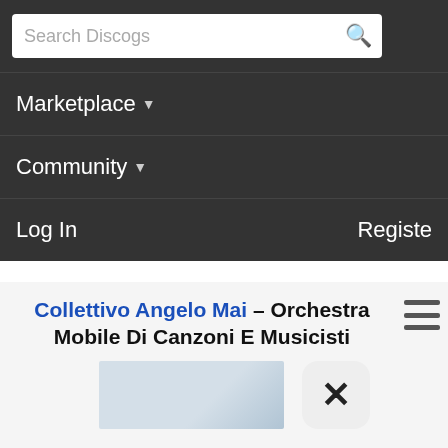Search Discogs
Marketplace ▾
Community ▾
Log In    Register
Collettivo Angelo Mai – Orchestra Mobile Di Canzoni E Musicisti
[Figure (photo): Partial album cover image visible, light blue/gray tones]